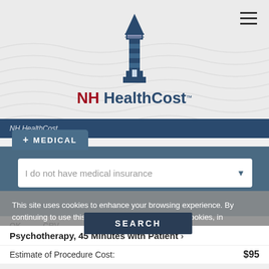[Figure (logo): NH HealthCost lighthouse logo with text 'NH HealthCost TM' and hamburger menu icon]
+ MEDICAL
I do not have medical insurance
This site uses cookies to enhance your browsing experience. By continuing to use this site, you agree to the use of cookies, in accordance with the NH website Privacy Policy
SEARCH
Psychotherapy, 45 Minutes with Patient ›
Estimate of Procedure Cost:
$95